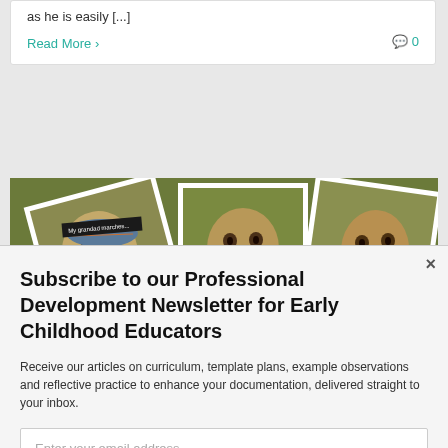as he is easily [...]
Read More >
0
[Figure (illustration): Artwork showing multiple polaroid-style illustrated portrait photographs of cartoon-style faces. One photo has text reading 'My grandad marches...'. The figures appear to be stylized caricatures in muted olive/khaki tones.]
Subscribe to our Professional Development Newsletter for Early Childhood Educators
Receive our articles on curriculum, template plans, example observations and reflective practice to enhance your documentation, delivered straight to your inbox.
Enter your email address
Subscribe Now